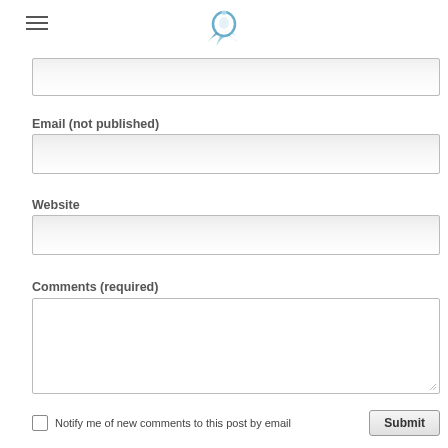[Figure (logo): Decorative logo with a circular blue/white design and floral elements]
Email (not published)
Website
Comments (required)
Notify me of new comments to this post by email
Submit